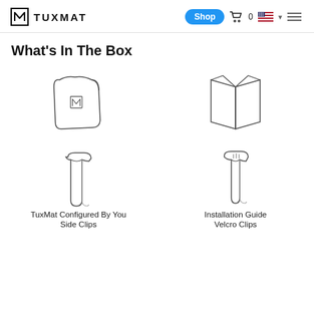TUXMAT | Shop | Cart 0 | US flag | Menu
What's In The Box
[Figure (illustration): Line drawing of a TuxMat car floor mat with the TuxMat logo embossed in the center]
TuxMat Configured By You
[Figure (illustration): Line drawing of an open folded installation guide booklet]
Installation Guide
[Figure (illustration): Line drawing of a side clip accessory]
Side Clips
[Figure (illustration): Line drawing of a velcro clip accessory]
Velcro Clips